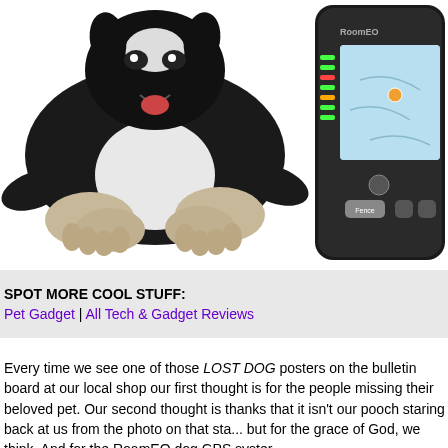[Figure (photo): Black and white Boston Terrier or similar dog lying down with paws stretched forward, looking up, on white background]
[Figure (photo): RoomEO or RoamEO GPS device with black casing, colored LED indicator buttons on the left side, and a screen showing a map with a location marker. A 'Fence' button is visible near the bottom.]
SPOT MORE COOL STUFF:
Pet Gadget | All Tech & Gadget Reviews
Every time we see one of those LOST DOG posters on the bulletin board at our local shop our first thought is for the people missing their beloved pet. Our second thought is thanks that it isn't our pooch staring back at us from the photo on that stapled paper. There but for the grace of God, we think. And for the RoamEO dog GPS system...